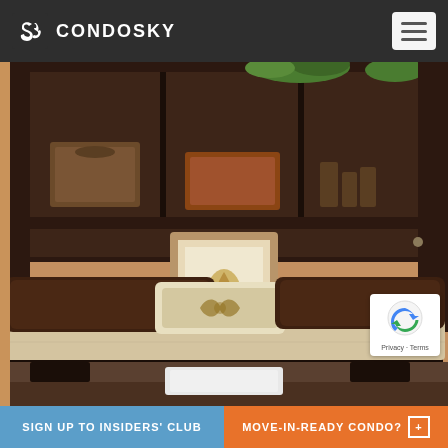CONDOSKY
[Figure (photo): A Murphy wall bed / cabinet bed in espresso finish, pulled down showing a cream mattress with two dark brown pillows and one decorative patterned pillow. The headboard unit has shelving with decorative items on top. Wall art hangs on the tan/beige wall behind the bed. A reCAPTCHA badge is visible in the lower right corner.]
SIGN UP TO INSIDERS' CLUB
MOVE-IN-READY CONDO?